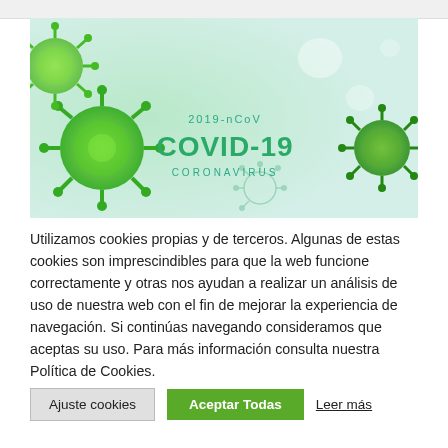[Figure (illustration): COVID-19 coronavirus banner image with green 3D virus models on light mint background. Text reads '2019-nCoV COVID-19 CORONAVIRUS' in teal/green lettering in the center.]
Utilizamos cookies propias y de terceros. Algunas de estas cookies son imprescindibles para que la web funcione correctamente y otras nos ayudan a realizar un análisis de uso de nuestra web con el fin de mejorar la experiencia de navegación. Si continúas navegando consideramos que aceptas su uso. Para más información consulta nuestra Política de Cookies.
Ajuste cookies | Aceptar Todas | Leer más